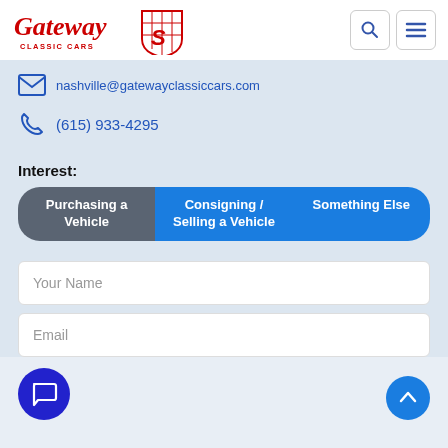Gateway Classic Cars logo with navigation icons (search, menu)
nashville@gatewayclassiccars.com
(615) 933-4295
Interest:
Purchasing a Vehicle
Consigning / Selling a Vehicle
Something Else
Your Name
Email